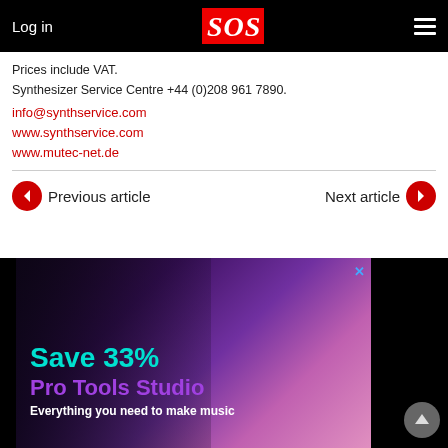Log in | SOS
Prices include VAT.
Synthesizer Service Centre +44 (0)208 961 7890.
info@synthservice.com
www.synthservice.com
www.mutec-net.de
Previous article | Next article
[Figure (photo): Advertisement banner: Person playing guitar in front of a computer monitor in a purple-lit studio setting. Text reads 'Save 33%', 'Pro Tools Studio', 'Everything you need to make music'.]